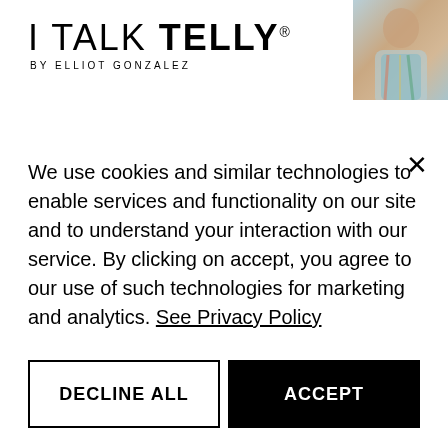I TALK TELLY BY ELLIOT GONZALEZ
[Figure (photo): Partial photo of a person in a colorful top, cropped in upper right corner]
Announced during this year's Edinburgh Television Festival, BBC One and BBC Three will be bringing viewers a brand new entertainment reality show titled Wim Hof's Superstar Survival, which follow a group of soul-searching celebrities as they embark on an epic
We use cookies and similar technologies to enable services and functionality on our site and to understand your interaction with our service. By clicking on accept, you agree to our use of such technologies for marketing and analytics. See Privacy Policy
DECLINE ALL
ACCEPT
COOKIE SETTINGS